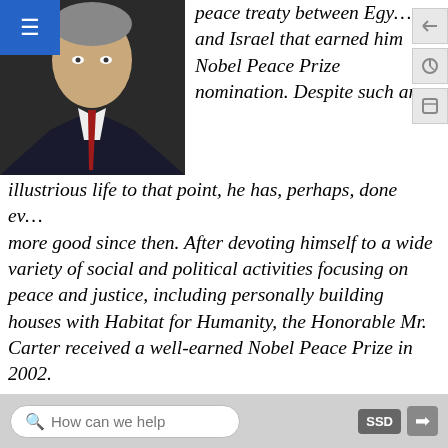[Figure (photo): Portrait photo of a man in a dark suit and red tie, partially visible in top-left area of page]
peace treaty between Egypt and Israel that earned him Nobel Peace Prize nomination. Despite such an illustrious life to that point, he has, perhaps, done even more good since then. After devoting himself to a wide variety of social and political activities focusing on peace and justice, including personally building houses with Habitat for Humanity, the Honorable Mr. Carter received a well-earned Nobel Peace Prize in 2002.
discussion question 13.4.1
Jung identified the first half of life as a time to take care of the biological needs of the species (e.g., raising
How can we help   SSD